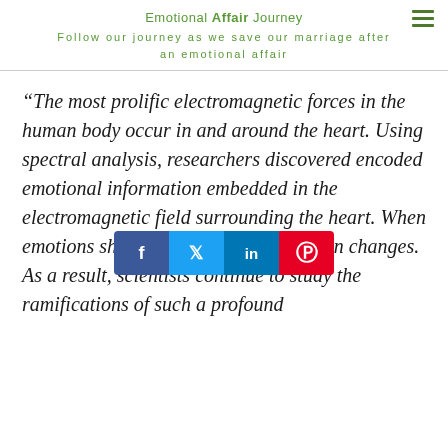Emotional Affair Journey
Follow our journey as we save our marriage after an emotional affair
“The most prolific electromagnetic forces in the human body occur in and around the heart. Using spectral analysis, researchers discovered encoded emotional information embedded in the electromagnetic field surrounding the heart. When emotions shift, this encoded information changes. As a result, scientists continue to study the ramifications of such a profound